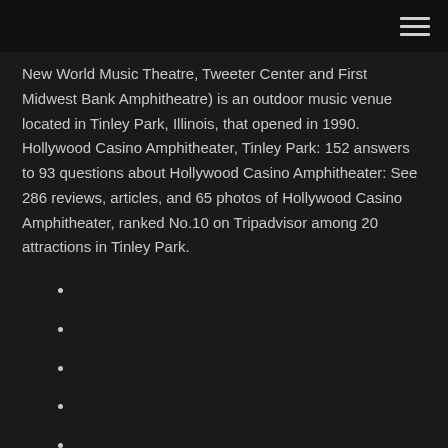New World Music Theatre, Tweeter Center and First Midwest Bank Amphitheatre) is an outdoor music venue located in Tinley Park, Illinois, that opened in 1990. Hollywood Casino Amphitheater, Tinley Park: 152 answers to 93 questions about Hollywood Casino Amphitheater: See 286 reviews, articles, and 65 photos of Hollywood Casino Amphitheater, ranked No.10 on Tripadvisor among 20 attractions in Tinley Park.